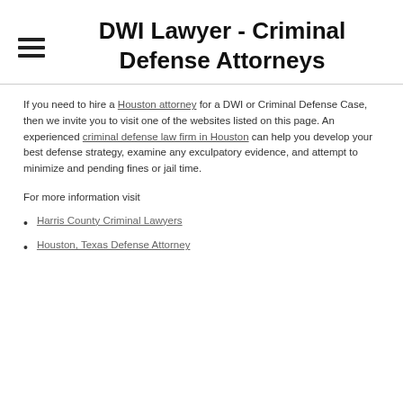DWI Lawyer - Criminal Defense Attorneys
If you need to hire a Houston attorney for a DWI or Criminal Defense Case, then we invite you to visit one of the websites listed on this page. An experienced criminal defense law firm in Houston can help you develop your best defense strategy, examine any exculpatory evidence, and attempt to minimize and pending fines or jail time.
For more information visit
Harris County Criminal Lawyers
Houston, Texas Defense Attorney